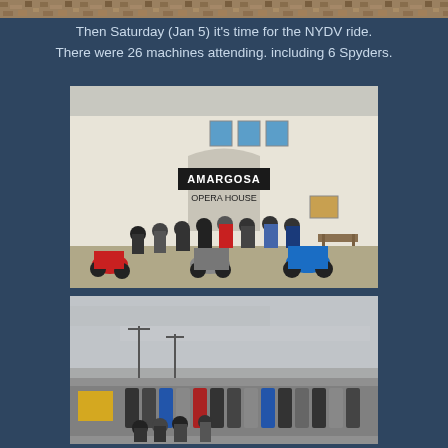[Figure (photo): Top strip photo showing rocky/sandy terrain close-up texture]
Then Saturday (Jan 5) it's time for the NYDV ride. There were 26 machines attending. including 6 Spyders.
[Figure (photo): Group photo in front of Amargosa Opera House with riders and three-wheeled Spyder motorcycles (red, silver/grey, blue)]
[Figure (photo): Parking lot scene with a line of motorcycles and riders in an open desert area with overcast sky and utility poles visible]